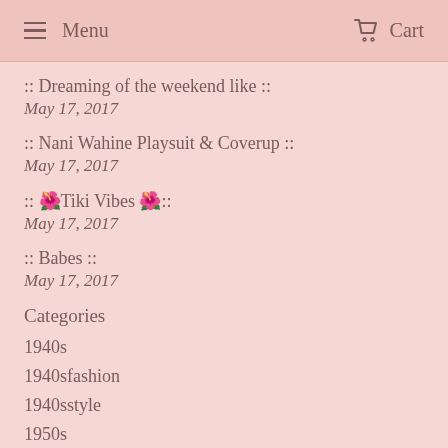Menu   Cart
:: Dreaming of the weekend like ::
May 17, 2017
:: Nani Wahine Playsuit & Coverup ::
May 17, 2017
:: 🌺Tiki Vibes 🌺::
May 17, 2017
:: Babes ::
May 17, 2017
Categories
1940s
1940sfashion
1940sstyle
1950s
1950sfashion